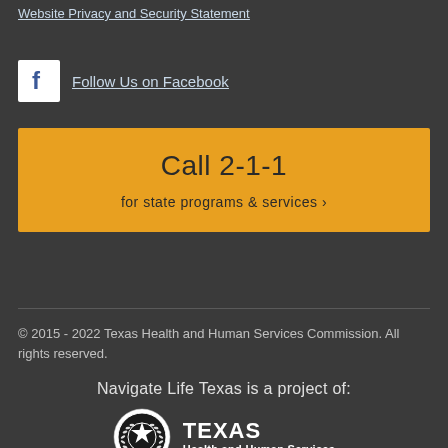Website Privacy and Security Statement
Follow Us on Facebook
Call 2-1-1
for state programs & services ›
© 2015 - 2022 Texas Health and Human Services Commission. All rights reserved.
Navigate Life Texas is a project of:
[Figure (logo): Texas Health and Human Services seal logo with star and wreath, alongside text TEXAS Health and Human Services]